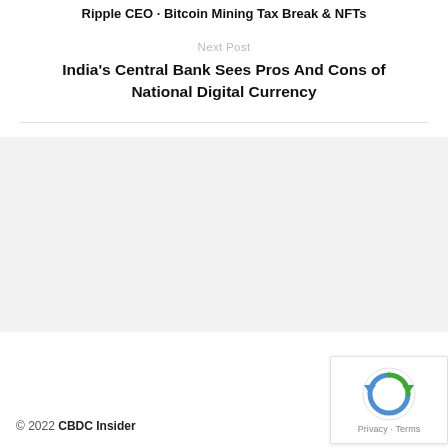Ripple CEO · Bitcoin Mining Tax Break & NFTs
Next Post
India's Central Bank Sees Pros And Cons of National Digital Currency
[Figure (other): Gray background advertisement/content placeholder area]
© 2022 CBDC Insider
[Figure (other): reCAPTCHA widget showing Privacy and Terms links]